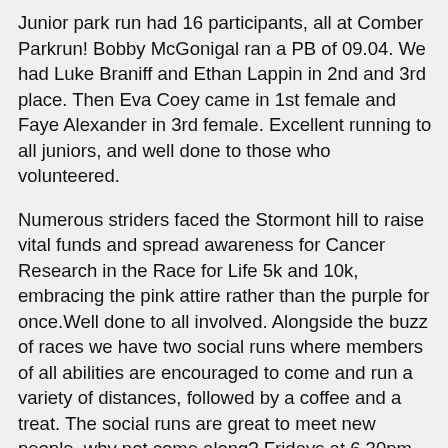Junior park run had 16 participants, all at Comber Parkrun! Bobby McGonigal ran a PB of 09.04. We had Luke Braniff and Ethan Lappin in 2nd and 3rd place. Then Eva Coey came in 1st female and Faye Alexander in 3rd female. Excellent running to all juniors, and well done to those who volunteered.
Numerous striders faced the Stormont hill to raise vital funds and spread awareness for Cancer Research in the Race for Life 5k and 10k, embracing the pink attire rather than the purple for once.Well done to all involved. Alongside the buzz of races we have two social runs where members of all abilities are encouraged to come and run a variety of distances, followed by a coffee and a treat. The social runs are great to meet new people, why not come along? Fridays at 6.30pm from the square and Sundays 9am from the square. If that isn't enough, we hold a trail run on Sunday evenings, for all abilities. There is something for everyone in the